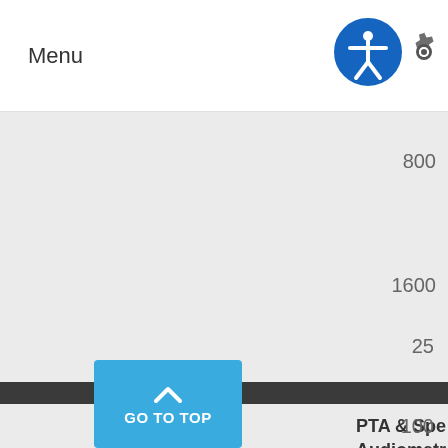Menu
800
1600
PTA & Spe Audiometr
-
25
100
GO TO TOP